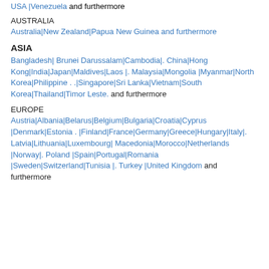USA |Venezuela and furthermore
AUSTRALIA
Australia|New Zealand|Papua New Guinea and furthermore
ASIA
Bangladesh| Brunei Darussalam|Cambodia|. China|Hong Kong|India|Japan|Maldives|Laos |. Malaysia|Mongolia |Myanmar|North Korea|Philippine . .|Singapore|Sri Lanka|Vietnam|South Korea|Thailand|Timor Leste. and furthermore
EUROPE
Austria|Albania|Belarus|Belgium|Bulgaria|Croatia|Cyprus |Denmark|Estonia . |Finland|France|Germany|Greece|Hungary|Italy|. Latvia|Lithuania|Luxembourg| Macedonia|Morocco|Netherlands |Norway|. Poland |Spain|Portugal|Romania |Sweden|Switzerland|Tunisia |. Turkey |United Kingdom and furthermore